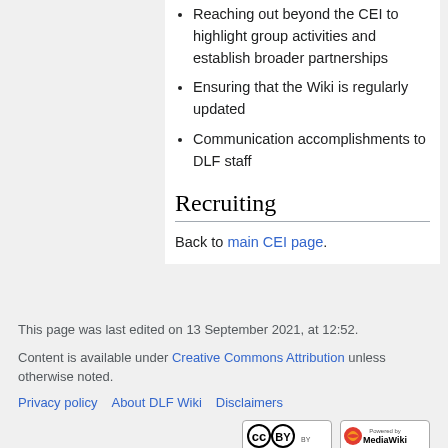Reaching out beyond the CEI to highlight group activities and establish broader partnerships
Ensuring that the Wiki is regularly updated
Communication accomplishments to DLF staff
Recruiting
Back to main CEI page.
This page was last edited on 13 September 2021, at 12:52.
Content is available under Creative Commons Attribution unless otherwise noted.
Privacy policy   About DLF Wiki   Disclaimers